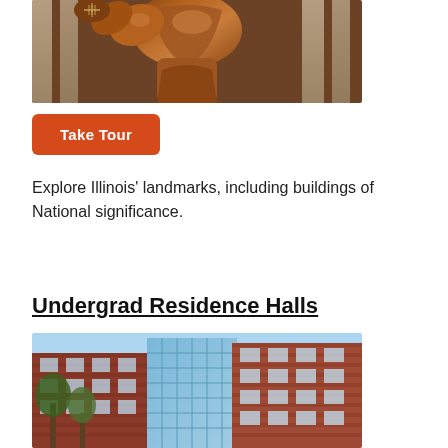[Figure (photo): Close-up of a bronze athletic statue holding a football, with brick columns in the background]
Take Tour
Explore Illinois' landmarks, including buildings of National significance.
Undergrad Residence Halls
[Figure (photo): Modern brick and glass university residence hall buildings under a blue sky with trees in foreground]